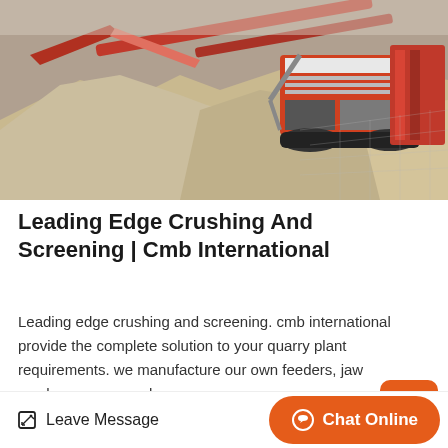[Figure (photo): A quarry crushing and screening machine — large red industrial equipment with conveyor belts and heavy machinery on a gravel/sand site outdoors.]
Leading Edge Crushing And Screening | Cmb International
Leading edge crushing and screening. cmb international provide the complete solution to your quarry plant requirements. we manufacture our own feeders, jaw crushers, cone crushers, scre…
Get Price >
Leave Message   Chat Online